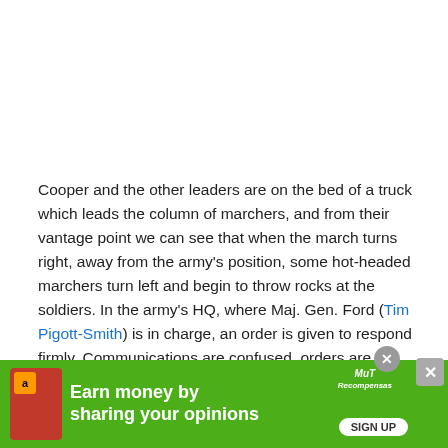Cooper and the other leaders are on the bed of a truck which leads the column of marchers, and from their vantage point we can see that when the march turns right, away from the army's position, some hot-headed marchers turn left and begin to throw rocks at the soldiers. In the army's HQ, where Maj. Gen. Ford (Tim Pigott-Smith) is in charge, an order is given to respond firmly. Communications are confused, orders are distorted as they pass down the chain of command, and soon rubber bullets
[Figure (infographic): Advertisement banner with green background. Amazon logo visible. Text reads 'Earn money by sharing your opinions' with a SIGN UP button. MuT Recompensas branding. Close buttons visible.]